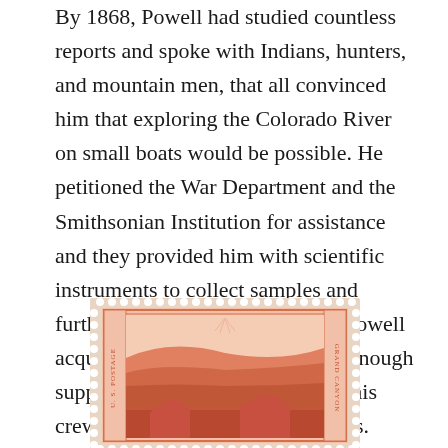By 1868, Powell had studied countless reports and spoke with Indians, hunters, and mountain men, that all convinced him that exploring the Colorado River on small boats would be possible. He petitioned the War Department and the Smithsonian Institution for assistance and they provided him with scientific instruments to collect samples and further study the area.   In time, Powell acquired four boats and gathered enough supplies and food to last him and his crew of nine for six to nine months.
[Figure (illustration): A U.S. postage stamp depicting the Grand Canyon in red/orange color, with perforated edges, showing a landscape scene of the canyon with text 'U.S. POSTAGE' and 'GRAND CANYON' on the sides.]